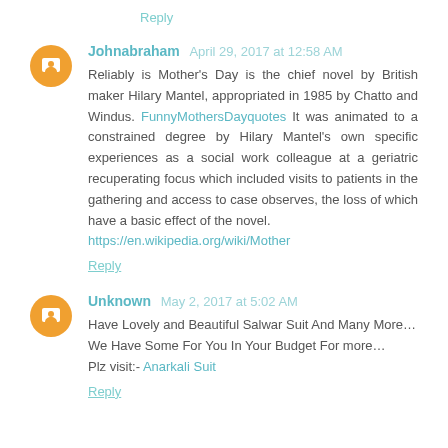Reply
Johnabraham  April 29, 2017 at 12:58 AM
Reliably is Mother's Day is the chief novel by British maker Hilary Mantel, appropriated in 1985 by Chatto and Windus. FunnyMothersDayquotes It was animated to a constrained degree by Hilary Mantel's own specific experiences as a social work colleague at a geriatric recuperating focus which included visits to patients in the gathering and access to case observes, the loss of which have a basic effect of the novel.
https://en.wikipedia.org/wiki/Mother
Reply
Unknown  May 2, 2017 at 5:02 AM
Have Lovely and Beautiful Salwar Suit And Many More…
We Have Some For You In Your Budget For more…
Plz visit:- Anarkali Suit
Reply